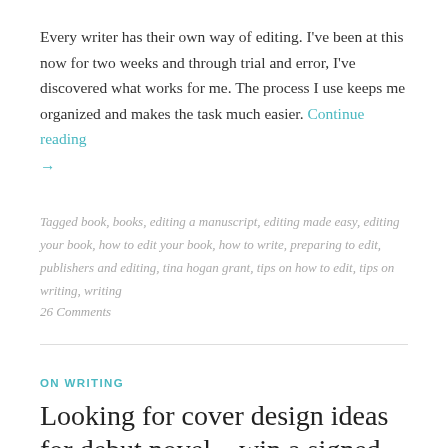Every writer has their own way of editing. I've been at this now for two weeks and through trial and error, I've discovered what works for me. The process I use keeps me organized and makes the task much easier. Continue reading →
Tagged book, books, editing a manuscript, editing made easy, editing your book, how to edit your book, how to write, preparing to edit, publishers and editing, tina hogan grant, tips on how to edit, tips on writing, writing
26 Comments
ON WRITING
Looking for cover design ideas for debut novel – win a signed copy